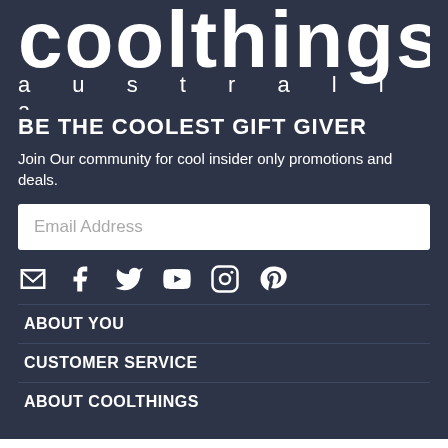[Figure (logo): CoolThings Australia logo — large white text 'coolthings' and smaller spaced text 'australia' on dark background]
BE THE COOLEST GIFT GIVER
Join Our community for cool insider only promotions and deals.
Email Address (input field)
[Figure (infographic): Row of social media icons: email, Facebook, Twitter, YouTube, Instagram, Pinterest]
ABOUT YOU
CUSTOMER SERVICE
ABOUT COOLTHINGS
Copyright © 2022 CoolThings Australia. ABN: 82 438 712 831
Warehouse Address: 31 THISTLE ST WEST, STH LAUNCESTON,